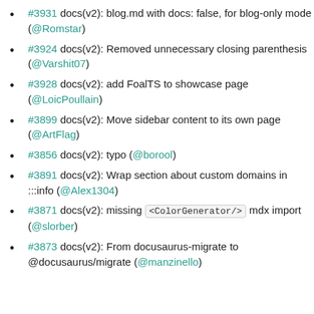#3931 docs(v2): blog.md with docs: false, for blog-only mode (@Romstar)
#3924 docs(v2): Removed unnecessary closing parenthesis (@Varshit07)
#3928 docs(v2): add FoalTS to showcase page (@LoicPoullain)
#3899 docs(v2): Move sidebar content to its own page (@ArtFlag)
#3856 docs(v2): typo (@borool)
#3891 docs(v2): Wrap section about custom domains in :::info (@Alex1304)
#3871 docs(v2): missing <ColorGenerator/> mdx import (@slorber)
#3873 docs(v2): From docusaurus-migrate to @docusaurus/migrate (@manzinello)